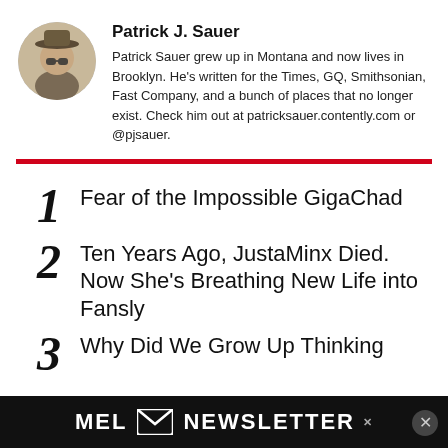[Figure (photo): Circular avatar photo of Patrick J. Sauer wearing a hat and sunglasses]
Patrick J. Sauer
Patrick Sauer grew up in Montana and now lives in Brooklyn. He's written for the Times, GQ, Smithsonian, Fast Company, and a bunch of places that no longer exist. Check him out at patricksauer.contently.com or @pjsauer.
1 Fear of the Impossible GigaChad
2 Ten Years Ago, JustaMinx Died. Now She's Breathing New Life into Fansly
3 Why Did We Grow Up Thinking
[Figure (other): MEL Newsletter signup bar at the bottom of the page]